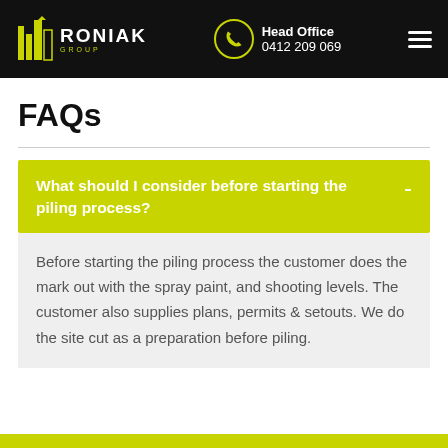RONIAK GROUP | Head Office 0412 209 069
FAQs
What should I consider before starting the piling process?
Before starting the piling process the customer does the mark out with the spray paint, and shooting levels. The customer also supplies plans, permits & setouts. We do the site cut as a preparation before piling.